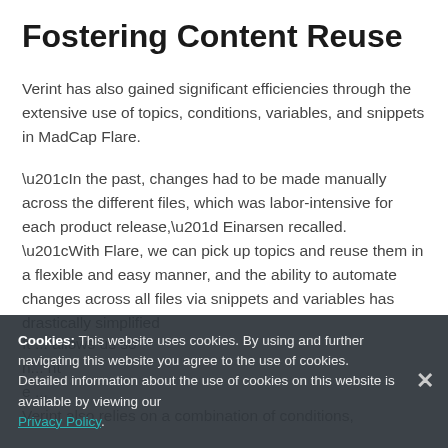Fostering Content Reuse
Verint has also gained significant efficiencies through the extensive use of topics, conditions, variables, and snippets in MadCap Flare.
“In the past, changes had to be made manually across the different files, which was labor-intensive for each product release,” Einarsen recalled. “With Flare, we can pick up topics and reuse them in a flexible and easy manner, and the ability to automate changes across all files via snippets and variables has drastically simplified
It ... allows us so ... nt ... e ... Verint also relies on a combination of conditions,
Cookies: This website uses cookies. By using and further navigating this website you agree to the use of cookies. Detailed information about the use of cookies on this website is available by viewing our Privacy Policy.